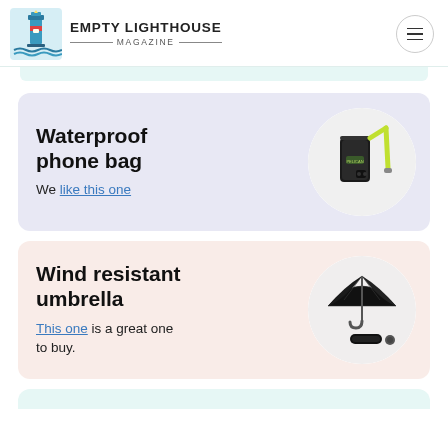Empty Lighthouse Magazine
Waterproof phone bag
We like this one
[Figure (photo): Waterproof phone bag with yellow/lime green lanyard strap, black case]
Wind resistant umbrella
This one is a great one to buy.
[Figure (photo): Black compact wind-resistant umbrella, folded and open views]